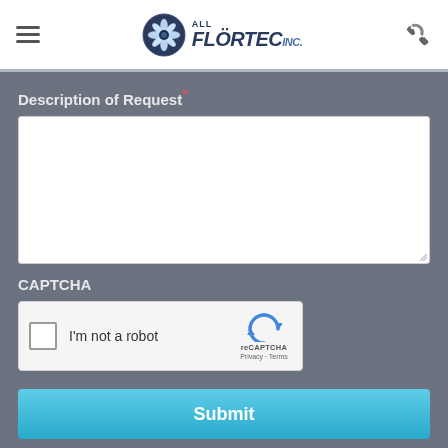[Figure (logo): All Flortec Inc. logo with snowflake/star icon and stylized italic text]
Description of Request *
CAPTCHA
[Figure (screenshot): reCAPTCHA widget with checkbox and 'I'm not a robot' text]
Submit
[Figure (infographic): Top Rated Local banner with 87.2 Rating Score]